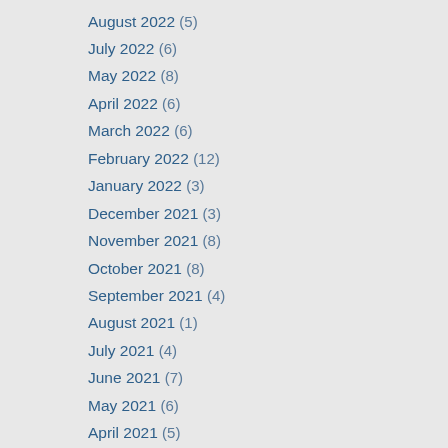August 2022 (5)
July 2022 (6)
May 2022 (8)
April 2022 (6)
March 2022 (6)
February 2022 (12)
January 2022 (3)
December 2021 (3)
November 2021 (8)
October 2021 (8)
September 2021 (4)
August 2021 (1)
July 2021 (4)
June 2021 (7)
May 2021 (6)
April 2021 (5)
March 2021 (9)
February 2021 (2)
January 2021 (7)
December 2020 (6)
November 2020 (9)